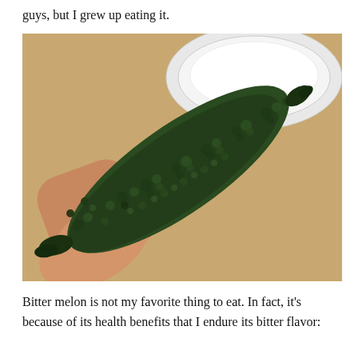guys, but I grew up eating it.
[Figure (photo): A hand holding a large dark green bitter melon (bitter gourd) with a bumpy, warty surface. In the background is a white ceramic dish/plate on a wooden surface.]
Bitter melon is not my favorite thing to eat. In fact, it's because of its health benefits that I endure its bitter flavor: